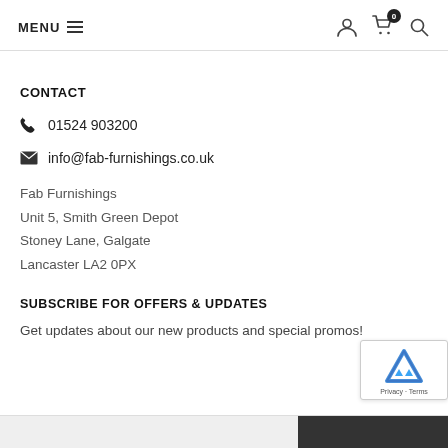MENU
CONTACT
01524 903200
info@fab-furnishings.co.uk
Fab Furnishings
Unit 5, Smith Green Depot
Stoney Lane, Galgate
Lancaster LA2 0PX
SUBSCRIBE FOR OFFERS & UPDATES
Get updates about our new products and special promos!